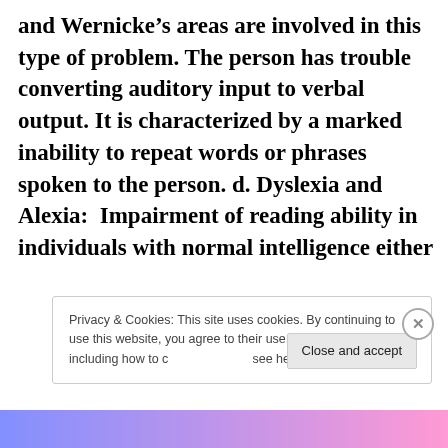and Wernicke's areas are involved in this type of problem. The person has trouble converting auditory input to verbal output. It is characterized by a marked inability to repeat words or phrases spoken to the person. d. Dyslexia and Alexia:  Impairment of reading ability in individuals with normal intelligence either
Privacy & Cookies: This site uses cookies. By continuing to use this website, you agree to their use. To find out more, including how to control cookies, see here: Cookie Policy